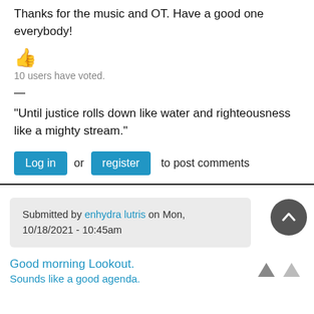Thanks for the music and OT. Have a good one everybody!
[Figure (illustration): Thumbs up emoji (👍) in orange/yellow color]
10 users have voted.
—
“Until justice rolls down like water and righteousness like a mighty stream.”
Log in or register to post comments
Submitted by enhydra lutris on Mon, 10/18/2021 - 10:45am
Good morning Lookout.
Sounds like a good agenda.